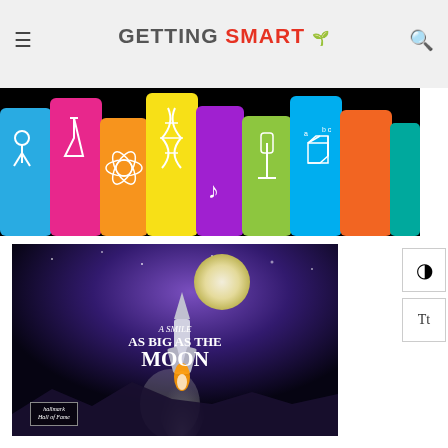GETTING SMART
[Figure (illustration): Colorful hands raised with educational symbols on black background — Getting Smart banner image]
[Figure (photo): Movie poster for 'A Smile as Big as the Moon' — Hallmark Hall of Fame film, showing a rocket launch against a night sky with moon]
In the United States, 6.5 million students ages three to 21 are served by the Individuals with Disabilities Education Act (IDEA). Today